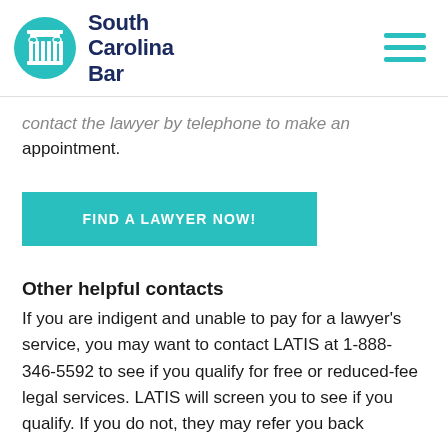South Carolina Bar
contact the lawyer by telephone to make an appointment.
[Figure (other): FIND A LAWYER NOW! button in teal/green color]
Other helpful contacts
If you are indigent and unable to pay for a lawyer's service, you may want to contact LATIS at 1-888-346-5592 to see if you qualify for free or reduced-fee legal services. LATIS will screen you to see if you qualify. If you do not, they may refer you back